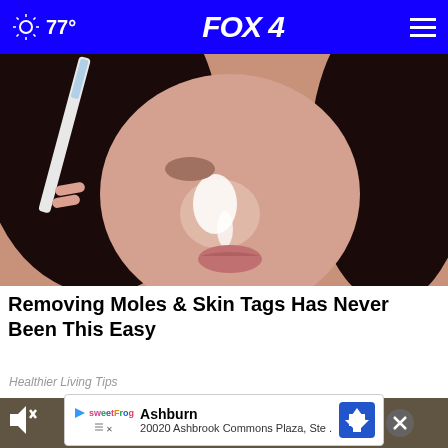77° FOX 4
[Figure (photo): Close-up of a woman's face with a white substance on her nose, holding a white toothbrush/applicator near her nose]
Removing Moles & Skin Tags Has Never Been This Easy
Healthier Living Tips
[Figure (photo): Video player showing a dark-toned scene, with a mute icon in the top left and a close (X) button]
Ashburn 20020 Ashbrook Commons Plaza, Ste .